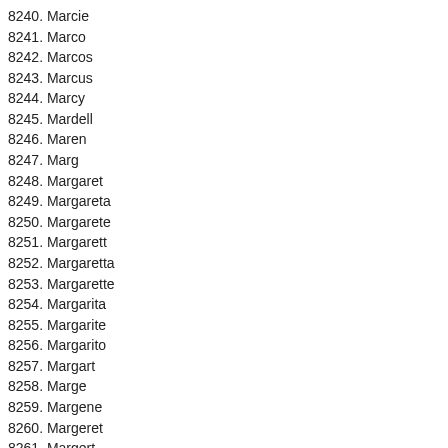8240. Marcie
8241. Marco
8242. Marcos
8243. Marcus
8244. Marcy
8245. Mardell
8246. Maren
8247. Marg
8248. Margaret
8249. Margareta
8250. Margarete
8251. Margarett
8252. Margaretta
8253. Margarette
8254. Margarita
8255. Margarite
8256. Margarito
8257. Margart
8258. Marge
8259. Margene
8260. Margeret
8261. Margert
8262. Margery
8263. Marget
8264. Margherita